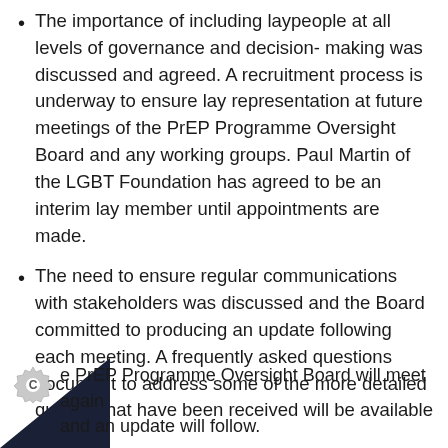The importance of including laypeople at all levels of governance and decision- making was discussed and agreed. A recruitment process is underway to ensure lay representation at future meetings of the PrEP Programme Oversight Board and any working groups. Paul Martin of the LGBT Foundation has agreed to be an interim lay member until appointments are made.
The need to ensure regular communications with stakeholders was discussed and the Board committed to producing an update following each meeting. A frequently asked questions document to address some of the more detailed queries that have been received will be available shortly.
The PrEP Programme Oversight Board will meet again and an update will follow.